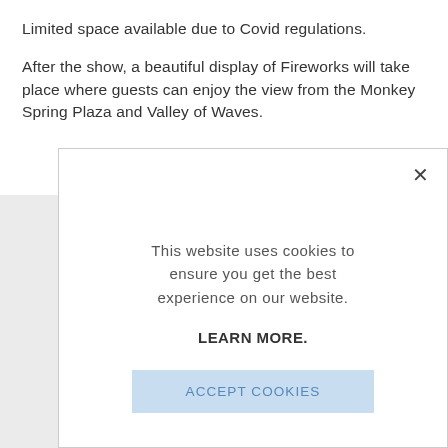Limited space available due to Covid regulations.
After the show, a beautiful display of Fireworks will take place where guests can enjoy the view from the Monkey Spring Plaza and Valley of Waves.
This website uses cookies to ensure you get the best experience on our website.

LEARN MORE.

ACCEPT COOKIES